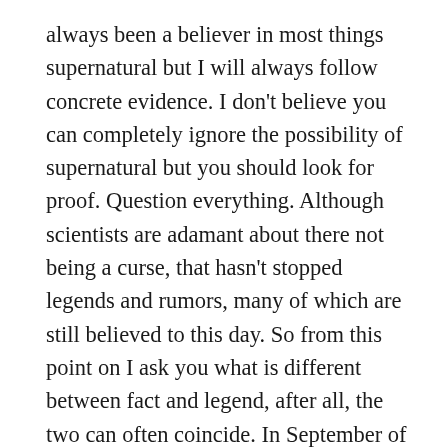always been a believer in most things supernatural but I will always follow concrete evidence. I don't believe you can completely ignore the possibility of supernatural but you should look for proof. Question everything. Although scientists are adamant about there not being a curse, that hasn't stopped legends and rumors, many of which are still believed to this day. So from this point on I ask you what is different between fact and legend, after all, the two can often coincide. In September of 2019, a mystery box from Tutankhamun's tomb was opened for the first time on film. Had it been opened before? Maybe, it is unknown and either hasn't been documented or just simply not been released information to the public. But on